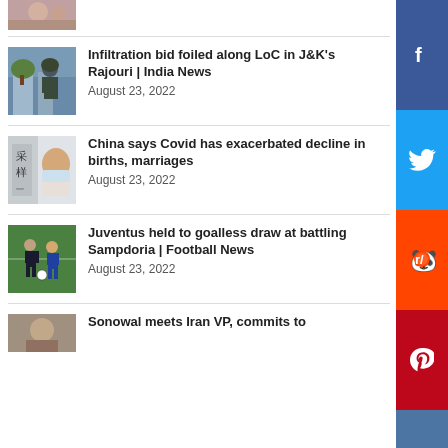[Figure (photo): Partial news thumbnail at top of page, cropped image of people]
[Figure (photo): Military soldier in helmet and gear]
Infiltration bid foiled along LoC in J&K's Rajouri | India News
August 23, 2022
[Figure (photo): Chinese Covid testing window with Chinese characters, person in mask]
China says Covid has exacerbated decline in births, marriages
August 23, 2022
[Figure (photo): Football players on pitch, Sampdoria vs Juventus]
Juventus held to goalless draw at battling Sampdoria | Football News
August 23, 2022
[Figure (photo): Partial news thumbnail at bottom, Sonowal news]
Sonowal meets Iran VP, commits to